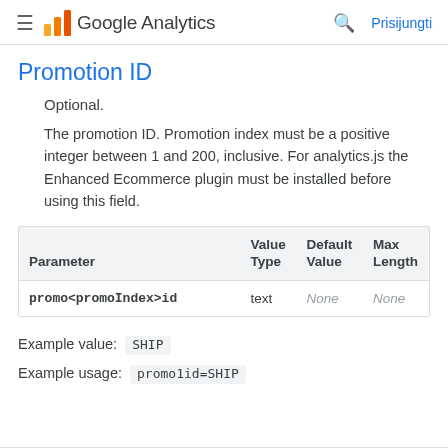≡ Google Analytics | 🔍 Prisijungti
Promotion ID
Optional.
The promotion ID. Promotion index must be a positive integer between 1 and 200, inclusive. For analytics.js the Enhanced Ecommerce plugin must be installed before using this field.
| Parameter | Value Type | Default Value | Max Length |
| --- | --- | --- | --- |
| promo<promoIndex>id | text | None | None |
Example value:  SHIP
Example usage:  promo1id=SHIP